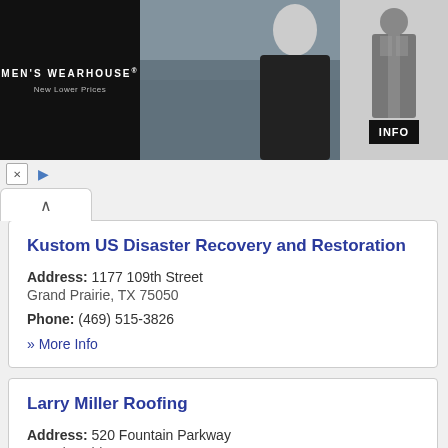[Figure (photo): Men's Wearhouse advertisement banner showing a couple in formal wear and a man in a suit, with INFO button]
Kustom US Disaster Recovery and Restoration
Address: 1177 109th Street
Grand Prairie, TX 75050
Phone: (469) 515-3826
» More Info
Larry Miller Roofing
Address: 520 Fountain Parkway
Grand Prairie, TX 75050